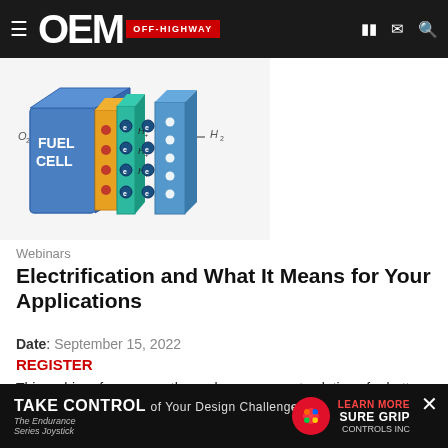OEM OFF-HIGHWAY
[Figure (illustration): Fuel cell diagram illustration showing a blue fuel cell block with yellow and teal electrode stacks, labeled O2 on left and H2 on right, with electron flow markers]
Webinars
Electrification and What It Means for Your Applications
Date: September 15, 2022
REGISTER
This webinar focuses on thermal management solutions for battery electric and fuel-cell electric vehicles for on-road and off-road applications.
Sponsored By: Horton Inc.
[Figure (other): Advertisement banner: TAKE CONTROL of Your Design Challenge - The Endurance Series Joystick - SURE GRIP CONTROLS INC - LEARN MORE]